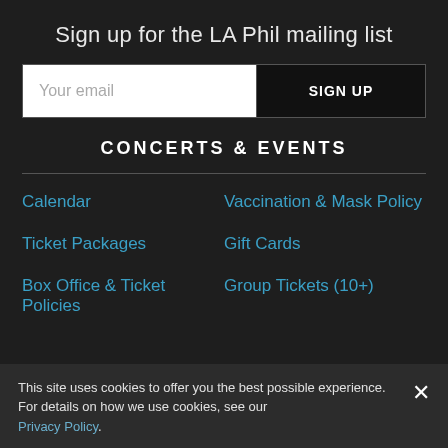Sign up for the LA Phil mailing list
Your email | SIGN UP
CONCERTS & EVENTS
Calendar
Vaccination & Mask Policy
Ticket Packages
Gift Cards
Box Office & Ticket Policies
Group Tickets (10+)
This site uses cookies to offer you the best possible experience. For details on how we use cookies, see our Privacy Policy.
Seating Charts